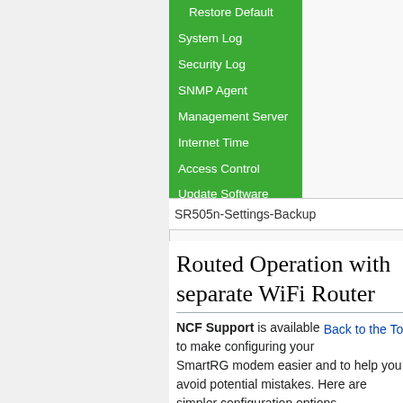[Figure (screenshot): Green navigation sidebar menu with items: Restore Default, System Log, Security Log, SNMP Agent, Management Server, Internet Time, Access Control, Update Software, Reboot, Logout]
SR505n-Settings-Backup
Routed Operation with separate WiFi Router
NCF Support is available to make configuring your SmartRG modem easier and to help you avoid potential mistakes. Here are simpler configuration options